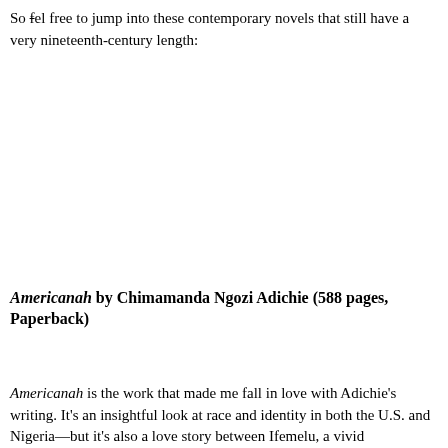So feel free to jump into these contemporary novels that still have a very nineteenth-century length:
Americanah by Chimamanda Ngozi Adichie (588 pages, Paperback)
Americanah is the work that made me fall in love with Adichie's writing. It's an insightful look at race and identity in both the U.S. and Nigeria—but it's also a love story between Ifemelu, a vivid